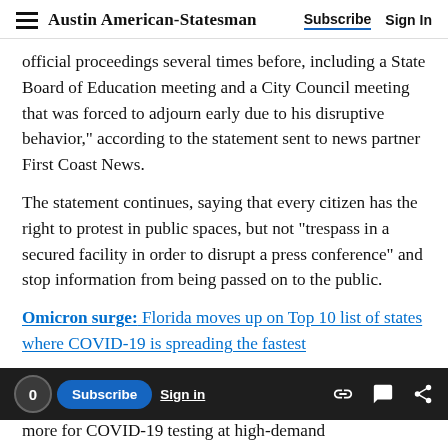Austin American-Statesman  Subscribe  Sign In
official proceedings several times before, including a State Board of Education meeting and a City Council meeting that was forced to adjourn early due to his disruptive behavior," according to the statement sent to news partner First Coast News.
The statement continues, saying that every citizen has the right to protest in public spaces, but not "trespass in a secured facility in order to disrupt a press conference" and stop information from being passed on to the public.
Omicron surge: Florida moves up on Top 10 list of states where COVID-19 is spreading the fastest
0  Subscribe  Sign in  [link icon] [comment icon] [share icon]
more for COVID-19 testing at high-demand